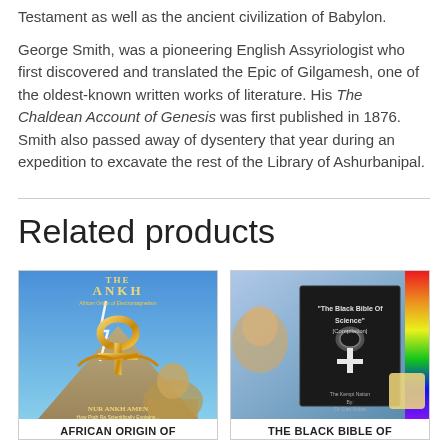Testament as well as the ancient civilization of Babylon.
George Smith, was a pioneering English Assyriologist who first discovered and translated the Epic of Gilgamesh, one of the oldest-known written works of literature. His The Chaldean Account of Genesis was first published in 1876. Smith also passed away of dysentery that year during an expedition to excavate the rest of the Library of Ashurbanipal.
Related products
[Figure (photo): Book cover of 'The Ankh: African Origin of Electromagnetism' by Nur Ankh Amen, showing a golden ankh symbol over a pyramid and sphinx background with lightning.]
AFRICAN ORIGIN OF
[Figure (photo): Book cover of 'The Black Bible Of Science (Compilation)' by The Kempt Nation / Dr. Dan Kubat, showing a glowing ankh symbol on a dark cover, displayed standing upright.]
THE BLACK BIBLE OF